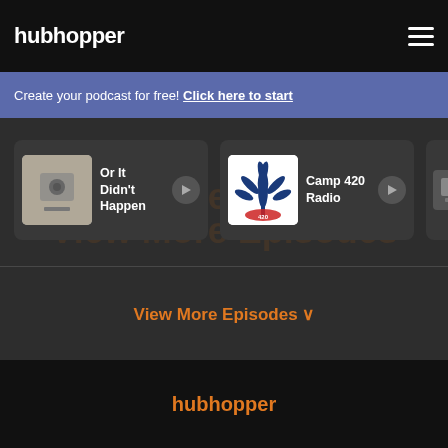hubhopper
Create your podcast for free! Click here to start
[Figure (screenshot): Podcast card: Or It Didn't Happen with thumbnail and play button]
[Figure (screenshot): Podcast card: Camp 420 Radio with cannabis leaf logo and play button]
[Figure (screenshot): Partially visible third podcast card]
View More Episodes ∨
hubhopper